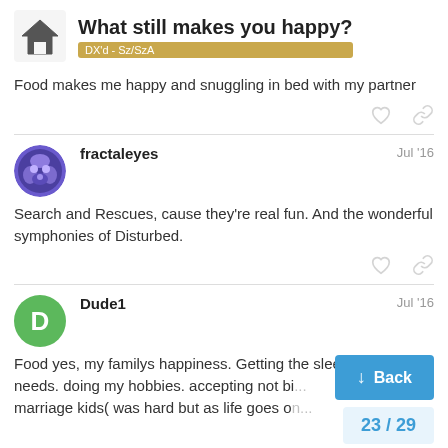What still makes you happy? DX'd - Sz/SzA
Food makes me happy and snuggling in bed with my partner
fractaleyes · Jul '16
Search and Rescues, cause they're real fun. And the wonderful symphonies of Disturbed.
Dude1 · Jul '16
Food yes, my familys happiness. Getting the sleep my body needs. doing my hobbies. accepting not bi... marriage kids( was hard but as life goes o...
Back
23 / 29